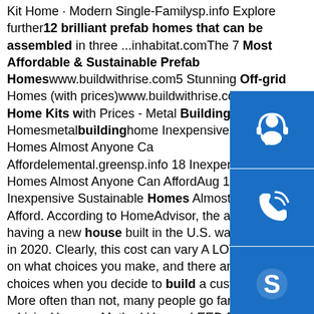Kit Home · Modern Single-Familysp.info Explore further 12 brilliant prefab homes that can be assembled in three ...inhabitat.comThe 7 Most Affordable & Sustainable Prefab Homeswww.buildwithrise.com5 Stunning Off-grid Homes (with prices)www.buildwithrise.comBudget Home Kits with Prices - Metal Building Homesmetalbuildinghomes Inexpensive Sustainable Homes Almost Anyone Can Affordelemental.greensp.info 18 Inexpensive Sustainable Homes Almost Anyone Can AffordAug 19, 2016 · 18 Inexpensive Sustainable Homes Almost Anyone Can Afford. According to HomeAdvisor, the average cost of having a new house built in the U.S. was $309,719 in 2020. Clearly, this cost can vary A LOT depending on what choices you make, and there are A LOT of choices when you decide to build a custom home. More often than not, many people go far ...LivingHomes · Method Homes LEED Eligible Prefabssp.info TIANDI prefabricated house, slope crest prefabricated ...TIANDI prefabricated house
[Figure (illustration): Three blue sidebar buttons with white icons: headset/customer support icon, phone call icon, and Skype icon]